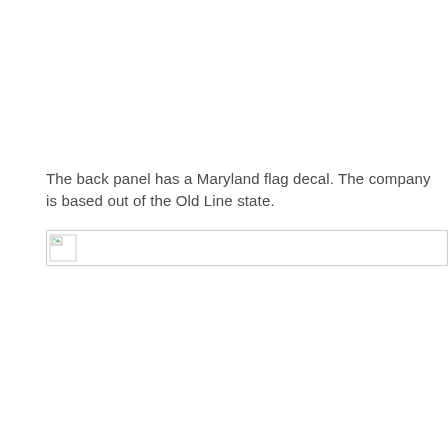The back panel has a Maryland flag decal. The company is based out of the Old Line state.
[Figure (photo): Broken/missing image placeholder showing a small broken image icon in the top-left corner of an image container with a light gray border.]